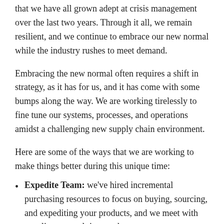that we have all grown adept at crisis management over the last two years. Through it all, we remain resilient, and we continue to embrace our new normal while the industry rushes to meet demand.
Embracing the new normal often requires a shift in strategy, as it has for us, and it has come with some bumps along the way. We are working tirelessly to fine tune our systems, processes, and operations amidst a challenging new supply chain environment.
Here are some of the ways that we are working to make things better during this unique time:
Expedite Team: we've hired incremental purchasing resources to focus on buying, sourcing, and expediting your products, and we meet with suppliers several times a day
Sizeable Inventory Investment: we've spent an